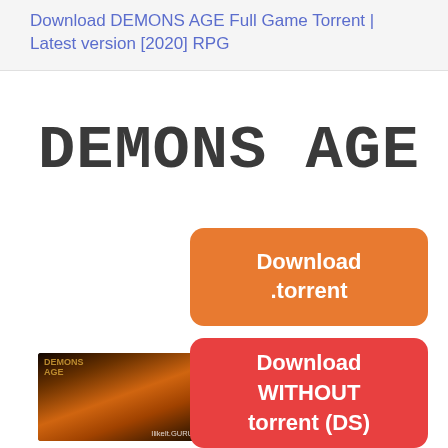Download DEMONS AGE Full Game Torrent | Latest version [2020] RPG
DEMONS AGE
[Figure (other): Orange download torrent button]
[Figure (photo): Demons Age game cover art with IlikeitGURU watermark]
[Figure (other): Red download WITHOUT torrent (DS) button]
(max speed + fast